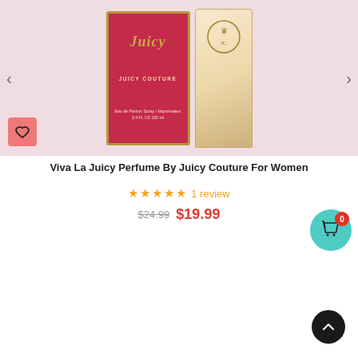[Figure (photo): Juicy Couture Viva La Juicy perfume product image showing pink box and glass bottle with gold crown emblem on pink background]
Viva La Juicy Perfume By Juicy Couture For Women
★★★★★ 1 review
$24.99 $19.99